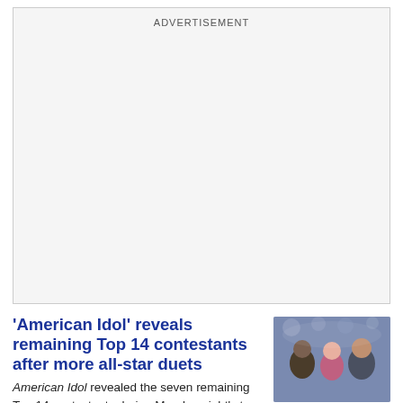[Figure (other): Advertisement placeholder box with 'ADVERTISEMENT' label at top, otherwise blank gray area]
'American Idol' reveals remaining Top 14 contestants after more all-star duets
[Figure (photo): Photo of American Idol judges — Lionel Richie, Katy Perry, and Luke Bryan — smiling together on stage]
American Idol revealed the seven remaining Top 14 contestants during Monday night's two-hour broadcast on ABC.